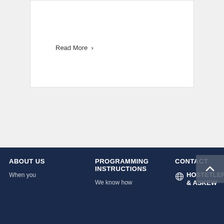Read More >
1  2  Next >
ABOUT US
PROGRAMMING INSTRUCTIONS
CONTACT
When you
We know how
HOSTETLER & ASKEW